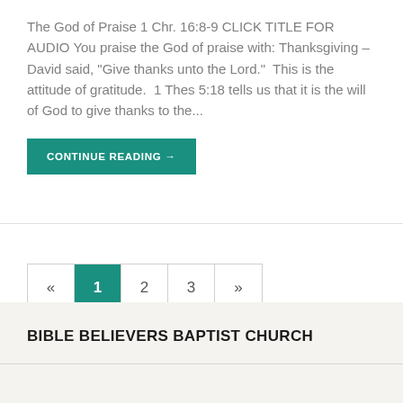The God of Praise 1 Chr. 16:8-9 CLICK TITLE FOR AUDIO You praise the God of praise with: Thanksgiving – David said, "Give thanks unto the Lord."  This is the attitude of gratitude.  1 Thes 5:18 tells us that it is the will of God to give thanks to the...
CONTINUE READING→
« 1 2 3 »
BIBLE BELIEVERS BAPTIST CHURCH